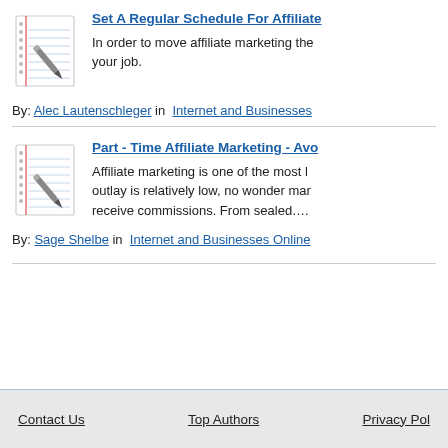[Figure (illustration): Notepad with pen icon for first article]
Set A Regular Schedule For Affiliate...
In order to move affiliate marketing the... your job.
By: Alec Lautenschleger in  Internet and Businesses...
[Figure (illustration): Notepad with pen icon for second article]
Part - Time Affiliate Marketing - Avo...
Affiliate marketing is one of the most l... outlay is relatively low, no wonder mar... receive commissions. From sealed....
By: Sage Shelbe in  Internet and Businesses Online
Contact Us    Top Authors    Privacy Pol...